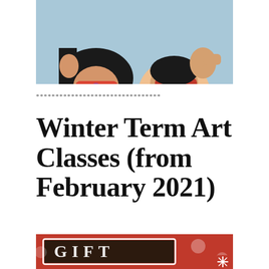[Figure (photo): Two people wearing patterned fabric face masks giving thumbs up]
********************************
Winter Term Art Classes (from February 2021)
[Figure (photo): Gift card promotional image with the word GIFT in chalk lettering on a dark background with red border and holiday decorations]